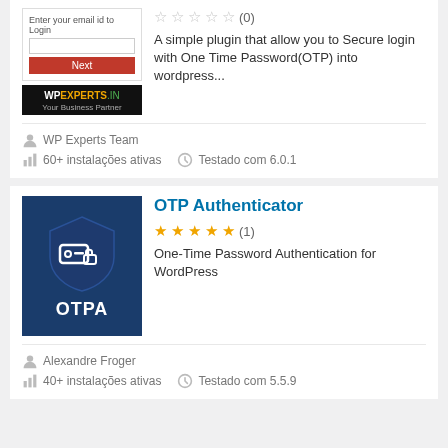[Figure (screenshot): WP Experts plugin login screenshot with WPExperts.in logo]
A simple plugin that allow you to Secure login with One Time Password(OTP) into wordpress...
WP Experts Team
60+ instalações ativas
Testado com 6.0.1
OTP Authenticator
★★★★★ (1)
One-Time Password Authentication for WordPress
[Figure (logo): OTP Authenticator plugin logo — dark blue shield with key/card icon and OTPA text]
Alexandre Froger
40+ instalações ativas
Testado com 5.5.9